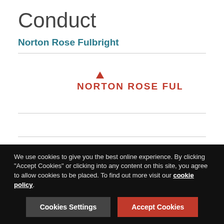Conduct
Norton Rose Fulbright
[Figure (logo): Norton Rose Fulbright logo in red with a small triangular arrow icon above the text]
European Union | January 10 2007
On 4 January 2007 the Committee of European Securities Regulators (CESR) published its first report to the European Commission on the compliance of the credit rating agencies
We use cookies to give you the best online experience. By clicking "Accept Cookies" or clicking into any content on this site, you agree to allow cookies to be placed. To find out more visit our cookie policy.